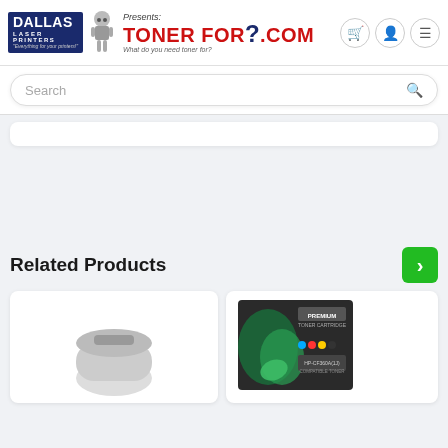[Figure (logo): Dallas Laser Printers presents TonerFor?.com logo with navigation icons (cart, user, menu)]
Search
[Figure (screenshot): White card / content area below search bar]
Related Products
[Figure (photo): Product card left - toner cartridge item partially visible]
[Figure (photo): Product card right - Premium toner box with green leaf design]